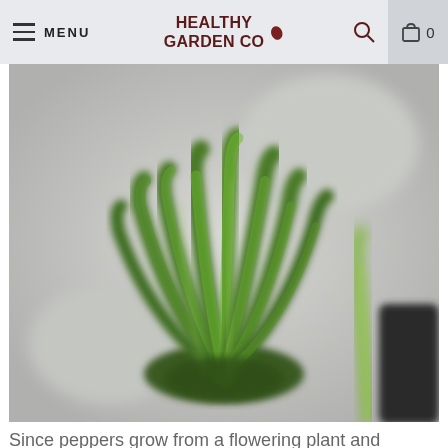MENU | HEALTHY GARDEN CO | Search | Cart 0
[Figure (photo): A bunch of fresh green chili peppers clustered together, photographed on a light surface with a blurred background.]
Since peppers grow from a flowering plant and